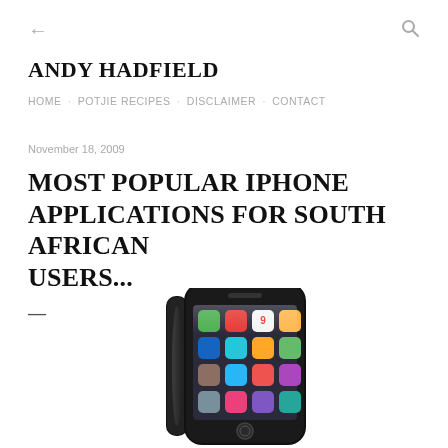← (back) Q (search)
ANDY HADFIELD
HOME · POTJIE RECIPES · DISCLAIMER · CONTACT
November 18, 2009
MOST POPULAR IPHONE APPLICATIONS FOR SOUTH AFRICAN USERS...
[Figure (photo): Two iPhones (3G/3GS) shown side by side, one at an angle and one facing front displaying the home screen with app icons, partially cropped at the bottom of the page.]